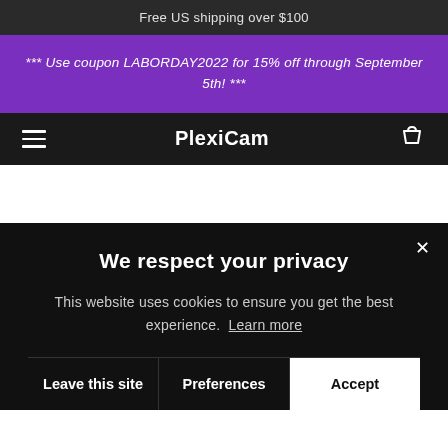Free US shipping over $100
*** Use coupon LABORDAY2022 for 15% off through September 5th! ***
PlexiCam
We respect your privacy
This website uses cookies to ensure you get the best experience. Learn more
Leave this site   Preferences   Accept